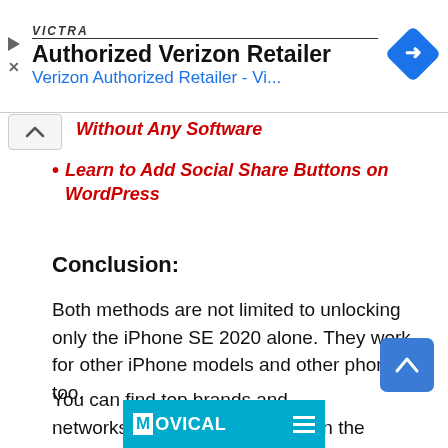[Figure (screenshot): Ad banner for Authorized Verizon Retailer (Victra) with logo, title, blue link text, and diamond navigation icon]
Without Any Software
Learn to Add Social Share Buttons on WordPress
Conclusion:
Both methods are not limited to unlocking only the iPhone SE 2020 alone. They work for other iPhone models and other phones too.
You can find top brands and networks supported by Movical in the image below.
[Figure (logo): Movical logo banner in cyan/teal color at bottom of page]